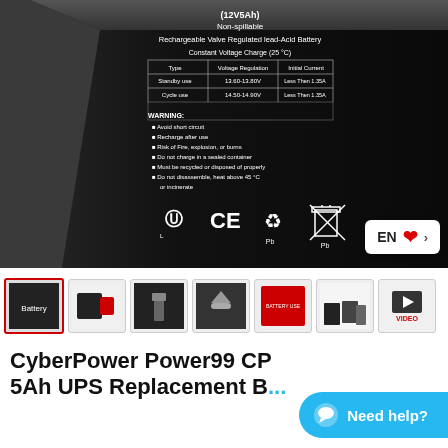[Figure (photo): Close-up photo of a black 12V5Ah Non-spillable Rechargeable Valve Regulated Lead-Acid Battery label, showing charge specifications table and warning text, with UL, CE, recycling, and lead disposal symbols visible. A language selector badge showing EN with Canadian maple leaf flag is overlaid in the lower right corner.]
[Figure (photo): Thumbnail strip showing 7 product images: battery label close-up (active/selected), battery with red cap, battery terminal connector, single terminal close-up, product info card, stacked batteries, and a video thumbnail.]
CyberPower Power99 CP 5Ah UPS Replacement B...